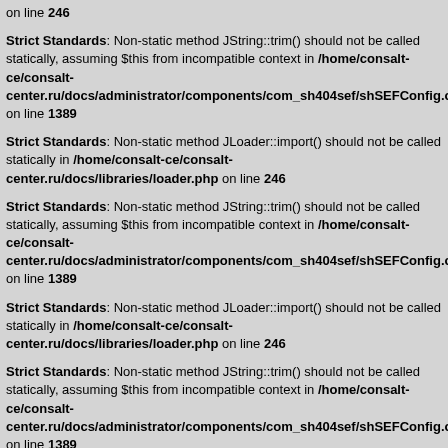on line 246
Strict Standards: Non-static method JString::trim() should not be called statically, assuming $this from incompatible context in /home/consalt-ce/consalt-center.ru/docs/administrator/components/com_sh404sef/shSEFConfig.cl on line 1389
Strict Standards: Non-static method JLoader::import() should not be called statically in /home/consalt-ce/consalt-center.ru/docs/libraries/loader.php on line 246
Strict Standards: Non-static method JString::trim() should not be called statically, assuming $this from incompatible context in /home/consalt-ce/consalt-center.ru/docs/administrator/components/com_sh404sef/shSEFConfig.cl on line 1389
Strict Standards: Non-static method JLoader::import() should not be called statically in /home/consalt-ce/consalt-center.ru/docs/libraries/loader.php on line 246
Strict Standards: Non-static method JString::trim() should not be called statically, assuming $this from incompatible context in /home/consalt-ce/consalt-center.ru/docs/administrator/components/com_sh404sef/shSEFConfig.cl on line 1389
Strict Standards: Non-static method JLoader::import() should not be called statically in /home/consalt-ce/consalt-center.ru/docs/libraries/loader.php